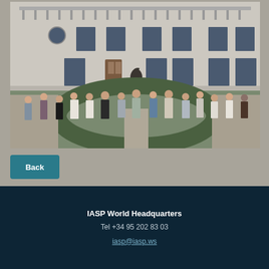[Figure (photo): Group photo of approximately 15 people standing in a courtyard garden of a historic stone building with balconies and multiple windows. People are arranged in a row around a circular hedge garden with a gravel path. The building facade is light stone/plaster with dark-framed windows.]
Back
IASP World Headquarters
Tel +34 95 202 83 03
iasp@iasp.ws